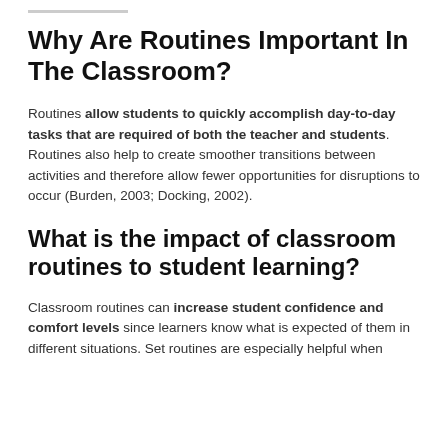Why Are Routines Important In The Classroom?
Routines allow students to quickly accomplish day-to-day tasks that are required of both the teacher and students. Routines also help to create smoother transitions between activities and therefore allow fewer opportunities for disruptions to occur (Burden, 2003; Docking, 2002).
What is the impact of classroom routines to student learning?
Classroom routines can increase student confidence and comfort levels since learners know what is expected of them in different situations. Set routines are especially helpful when